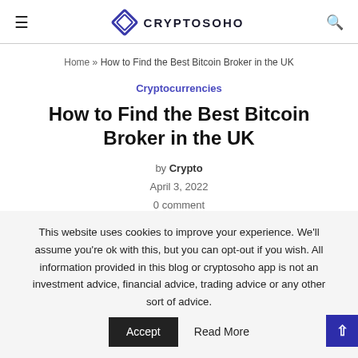CryptoSoho
Home » How to Find the Best Bitcoin Broker in the UK
Cryptocurrencies
How to Find the Best Bitcoin Broker in the UK
by Crypto
April 3, 2022
0 comment
This website uses cookies to improve your experience. We'll assume you're ok with this, but you can opt-out if you wish. All information provided in this blog or cryptosoho app is not an investment advice, financial advice, trading advice or any other sort of advice.